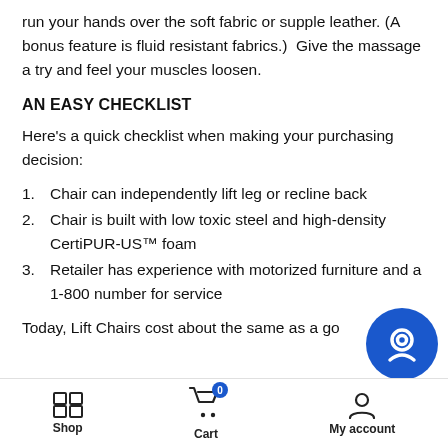run your hands over the soft fabric or supple leather. (A bonus feature is fluid resistant fabrics.)  Give the massage a try and feel your muscles loosen.
AN EASY CHECKLIST
Here's a quick checklist when making your purchasing decision:
Chair can independently lift leg or recline back
Chair is built with low toxic steel and high-density CertiPUR-US™ foam
Retailer has experience with motorized furniture and a 1-800 number for service
Today, Lift Chairs cost about the same as a go
Shop  Cart  My account